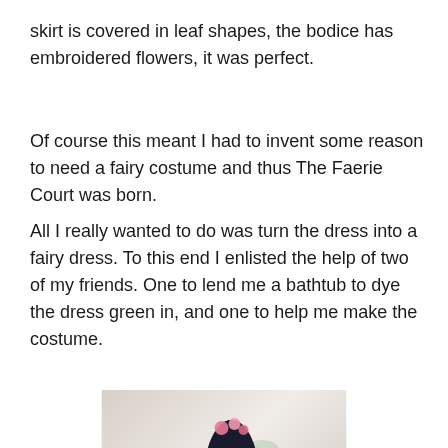skirt is covered in leaf shapes, the bodice has embroidered flowers, it was perfect.
Of course this meant I had to invent some reason to need a fairy costume and thus The Faerie Court was born.
All I really wanted to do was turn the dress into a fairy dress. To this end I enlisted the help of two of my friends. One to lend me a bathtub to dye the dress green in, and one to help me make the costume.
[Figure (photo): Photo showing people in costumes with floral decorations, including someone in a dark outfit with flowers, set in a room with decorative wallpaper.]